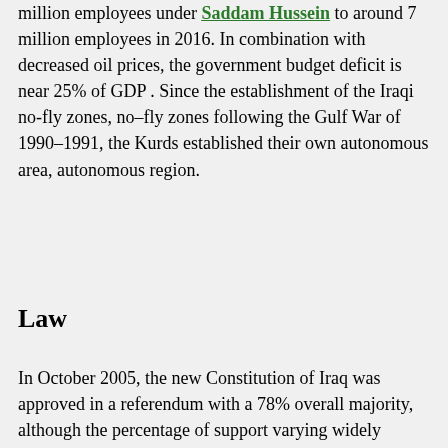million employees under Saddam Hussein to around 7 million employees in 2016. In combination with decreased oil prices, the government budget deficit is near 25% of GDP . Since the establishment of the Iraqi no-fly zones, no–fly zones following the Gulf War of 1990–1991, the Kurds established their own autonomous area, autonomous region.
Law
In October 2005, the new Constitution of Iraq was approved in a referendum with a 78% overall majority, although the percentage of support varying widely between the country's territories. The new constitution was backed by the Shia and Kurdish communities, but was rejected by Arab Sunnis. Under the terms of the constitution, the country conducted Iraqi parliamentary election, December 2005, fresh nationwide parliamentary elections on 15 December 2005. All three major ethnic groups in Iraq voted along ethnic lines, as did Assyrian and Turcoman minorities. Law no. 188 of the year 1959 (Personal Status Law) made polygamy...